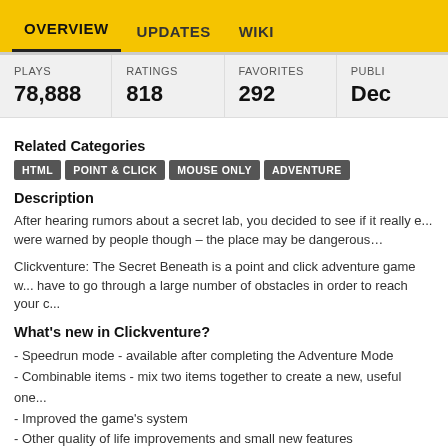OVERVIEW  UPDATES  WIKI
| PLAYS | RATINGS | FAVORITES | PUBLI... |
| --- | --- | --- | --- |
| 78,888 | 818 | 292 | Dec ... |
Related Categories
HTML  POINT & CLICK  MOUSE ONLY  ADVENTURE
Description
After hearing rumors about a secret lab, you decided to see if it really e... were warned by people though – the place may be dangerous…
Clickventure: The Secret Beneath is a point and click adventure game w... have to go through a large number of obstacles in order to reach your c...
What's new in Clickventure?
- Speedrun mode - available after completing the Adventure Mode
- Combinable items - mix two items together to create a new, useful one...
- Improved the game's system
- Other quality of life improvements and small new features
Message from the creator
Clickventurers!